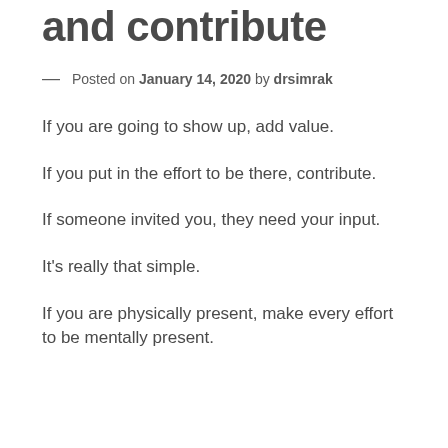and contribute
— Posted on January 14, 2020 by drsimrak
If you are going to show up, add value.
If you put in the effort to be there, contribute.
If someone invited you, they need your input.
It's really that simple.
If you are physically present, make every effort to be mentally present.